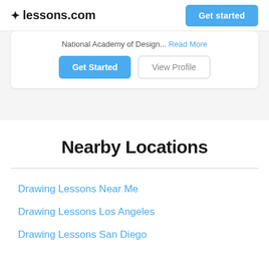lessons.com | Get started
National Academy of Design... Read More
Get Started | View Profile
Nearby Locations
Drawing Lessons Near Me
Drawing Lessons Los Angeles
Drawing Lessons San Diego